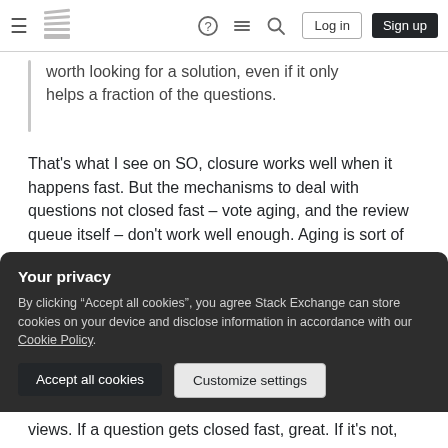Stack Exchange navigation bar with hamburger menu, logo, help, chat, search icons, Log in and Sign up buttons
worth looking for a solution, even if it only helps a fraction of the questions.
That's what I see on SO, closure works well when it happens fast. But the mechanisms to deal with questions not closed fast – vote aging, and the review queue itself – don't work well enough. Aging is sort of invisible, but the queue is the opposite of that, it stands there in the top of the /review page, as if it were the most important thing reviewers should be working on. In my opinion, it isn't –
Your privacy
By clicking “Accept all cookies”, you agree Stack Exchange can store cookies on your device and disclose information in accordance with our Cookie Policy.
Accept all cookies
Customize settings
views. If a question gets closed fast, great. If it's not,